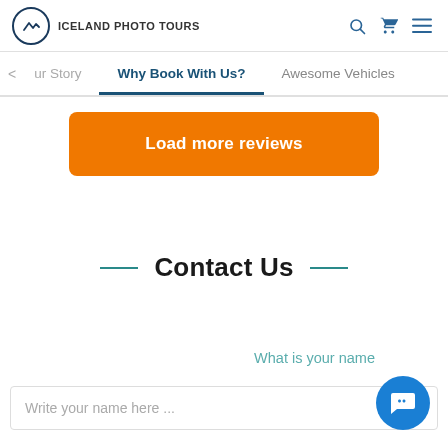ICELAND PHOTO TOURS
Our Story    Why Book With Us?    Awesome Vehicles
Load more reviews
Contact Us
What is your name
Write your name here ...